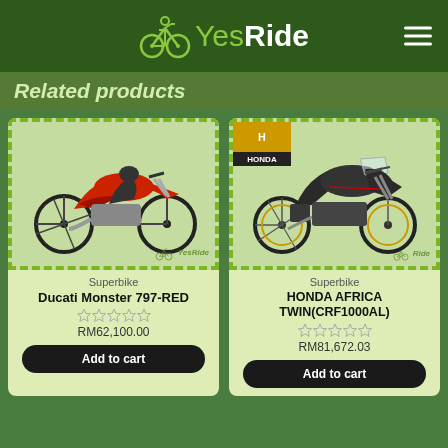YesRide
Related products
[Figure (photo): Red Ducati Monster 797 sport motorcycle on white background with YesRide watermark]
Superbike
Ducati Monster 797-RED
RM62,100.00
[Figure (photo): Black Honda Africa Twin CRF1000AL adventure motorcycle with Honda logo banner, YesRide watermark]
Superbike
HONDA AFRICA TWIN(CRF1000AL)
RM81,672.03